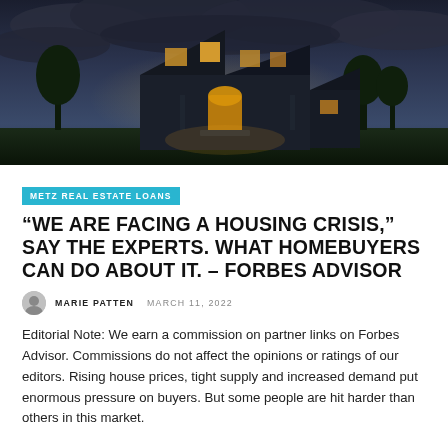[Figure (photo): A large two-story house lit up from inside against a dark stormy evening sky, viewed from the front lawn]
METZ REAL ESTATE LOANS
“WE ARE FACING A HOUSING CRISIS,” SAY THE EXPERTS. WHAT HOMEBUYERS CAN DO ABOUT IT. – FORBES ADVISOR
MARIE PATTEN  MARCH 11, 2022
Editorial Note: We earn a commission on partner links on Forbes Advisor. Commissions do not affect the opinions or ratings of our editors. Rising house prices, tight supply and increased demand put enormous pressure on buyers. But some people are hit harder than others in this market.